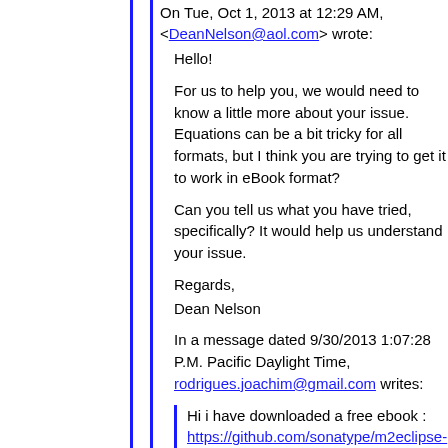On Tue, Oct 1, 2013 at 12:29 AM, <DeanNelson@aol.com> wrote:
Hello!

For us to help you, we would need to know a little more about your issue. Equations can be a bit tricky for all formats, but I think you are trying to get it to work in eBook format?

Can you tell us what you have tried, specifically? It would help us understand your issue.

Regards,
Dean Nelson

In a message dated 9/30/2013 1:07:28 P.M. Pacific Daylight Time, rodrigues.joachim@gmail.com writes:
Hi i have downloaded a free ebook :
https://github.com/sonatype/m2eclipse-book

because i'm learning how to write a book.
I need to write equations so i simply added this example
http://www.docbook.org/tdg/en/html/equation.html

to a xml file of the free ebook. but it does't wort at all.

Can somebody help ?